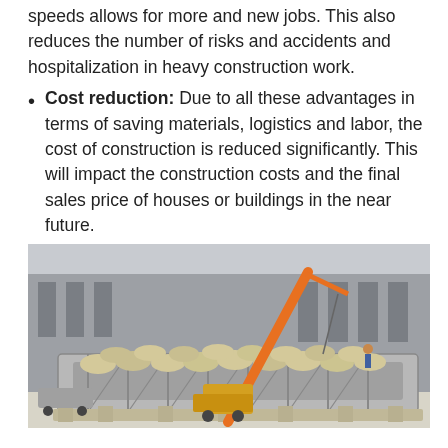speeds allows for more and new jobs. This also reduces the number of risks and accidents and hospitalization in heavy construction work.
Cost reduction: Due to all these advantages in terms of saving materials, logistics and labor, the cost of construction is reduced significantly. This will impact the construction costs and the final sales price of houses or buildings in the near future.
[Figure (photo): A construction site photograph showing a large precast concrete panel/mold on a pallet with bags of material loaded on top, and an orange crane in the background near a large warehouse or industrial building.]